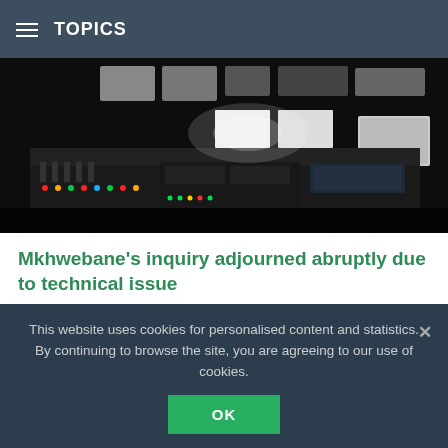TOPICS
[Figure (photo): A broadcast control room or production studio with mixing boards, monitors, and equipment lit by colorful indicator lights against a dark background.]
Mkhwebane’s inquiry adjourned abruptly due to technical issue
Yesterday at 21:19 PM, via SABC News
The Section 194 Parliamentary Committee into suspended Public Protector Busisiwe Mkhwebane’s fitness to hold office adjourned abruptly after former Senior Manager in the Public Protector’s Office Reginald Ndou disappeared from the virtual platform due to signal problems.
This website uses cookies for personalised content and statistics. By continuing to browse the site, you are agreeing to our use of cookies.